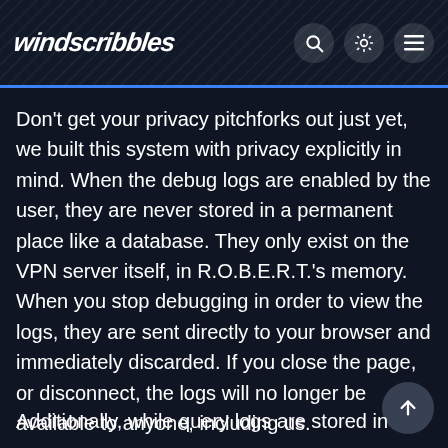windscribbles
Don't get your privacy pitchforks out just yet, we built this system with privacy explicitly in mind. When the debug logs are enabled by the user, they are never stored in a permanent place like a database. They only exist on the VPN server itself, in R.O.B.E.R.T.'s memory. When you stop debugging in order to view the logs, they are sent directly to your browser and immediately discarded. If you close the page, or disconnect, the logs will no longer be available to anyone, including us.
Additionally, while query logs are stored in